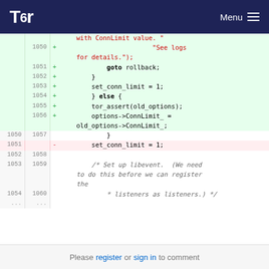Tor Menu
[Figure (screenshot): Code diff view showing additions and removals in a C source file, with line numbers, +/- markers, and syntax highlighting. Added lines (green background) show string concatenation, goto statement, brace, set_conn_limit assignment, else block, tor_assert call, options ConnLimit assignment. Removed line (pink background) shows set_conn_limit = 1. Context lines show closing brace and a comment block about libevent.]
Please register or sign in to comment